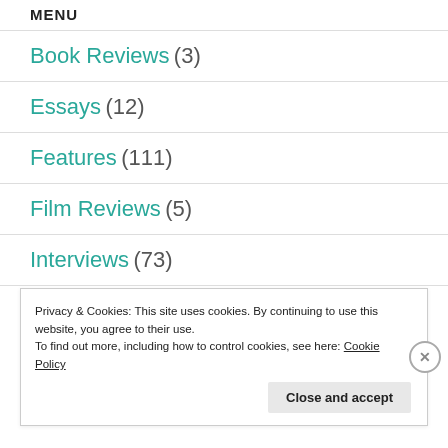MENU
Book Reviews (3)
Essays (12)
Features (111)
Film Reviews (5)
Interviews (73)
Privacy & Cookies: This site uses cookies. By continuing to use this website, you agree to their use.
To find out more, including how to control cookies, see here: Cookie Policy
Close and accept